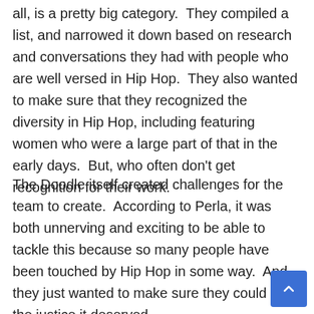all, is a pretty big category.  They compiled a list, and narrowed it down based on research and conversations they had with people who are well versed in Hip Hop.  They also wanted to make sure that they recognized the diversity in Hip Hop, including featuring women who were a large part of that in the early days.  But, who often don't get recognition for their work.
The Doodle itself created challenges for the team to create.  According to Perla, it was both unnerving and exciting to be able to tackle this because so many people have been touched by Hip Hop in some way.  And they just wanted to make sure they could do it the justice it deserved.